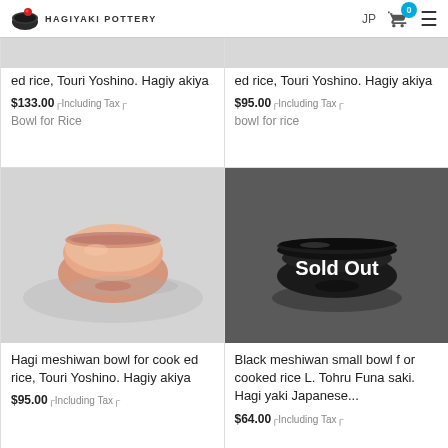HAGIYAKI POTTERY | JP | cart 0
Hagi meshiwan bowl for cooked rice, Touri Yoshino. Hagiyakiya
$133.00 Including Tax
Bowl for Rice
Hagi meshiwan bowl for cooked rice, Touri Yoshino. Hagiyakiya
$95.00 Including Tax
bowl for rice
[Figure (photo): Peach/salmon colored ceramic rice bowl on light gray background]
Hagi meshiwan bowl for cooked rice, Touri Yoshino. Hagiyakiya
$95.00 Including Tax
[Figure (photo): Black ceramic rice bowl on dark gray background with Sold Out overlay text]
Black meshiwan small bowl for cooked rice L. Tohru Funasaki. Hagi yaki Japanese...
$64.00 Including Tax